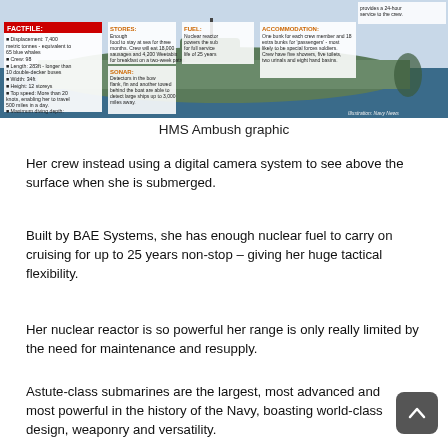[Figure (infographic): HMS Ambush submarine cutaway infographic showing factfile details including displacement 7,400 metric tonnes, crew 98, length 283ft, width 34ft, height 12 storeys, top speed 20+ knots, maximum diving depth in excess of 300ft. Labels for STORES, FUEL (nuclear reactor), ACCOMMODATION, SONAR sections visible.]
HMS Ambush graphic
Her crew instead using a digital camera system to see above the surface when she is submerged.
Built by BAE Systems, she has enough nuclear fuel to carry on cruising for up to 25 years non-stop – giving her huge tactical flexibility.
Her nuclear reactor is so powerful her range is only really limited by the need for maintenance and resupply.
Astute-class submarines are the largest, most advanced and most powerful in the history of the Navy, boasting world-class design, weaponry and versatility.